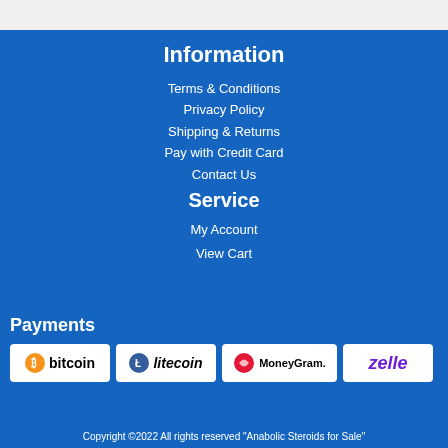Information
Terms & Conditions
Privacy Policy
Shipping & Returns
Pay with Credit Card
Contact Us
Service
My Account
View Cart
Payments
[Figure (logo): Bitcoin payment logo]
[Figure (logo): Litecoin payment logo]
[Figure (logo): MoneyGram payment logo]
[Figure (logo): Zelle payment logo]
Copyright ©2022 All rights reserved "Anabolic Steroids for Sale"